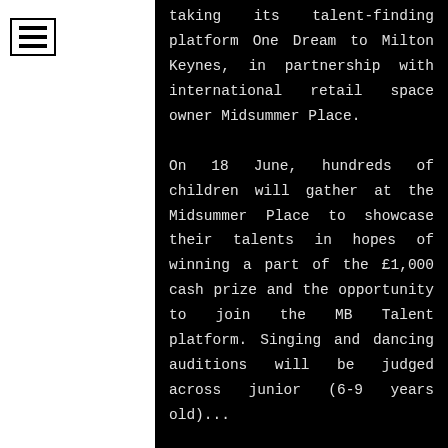taking its talent-finding platform One Dream to Milton Keynes, in partnership with international retail space owner Midsummer Place. On 18 June, hundreds of children will gather at the Midsummer Place to showcase their talents in hopes of winning a part of the £1,000 cash prize and the opportunity to join the MB Talent platform. Singing and dancing auditions will be judged across junior (6-9 years old) and senior categories (10+)...